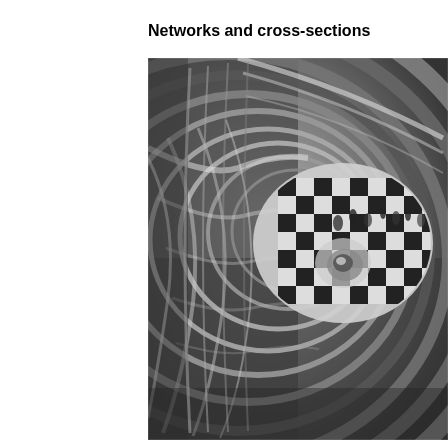Networks and cross-sections
[Figure (photo): Black and white photograph showing concentric circular rings (cross-sections of a lens or similar optical/mechanical element) with a reflection of a checkered floor pattern and people visible in the center, creating a spiral/nested circle visual effect.]